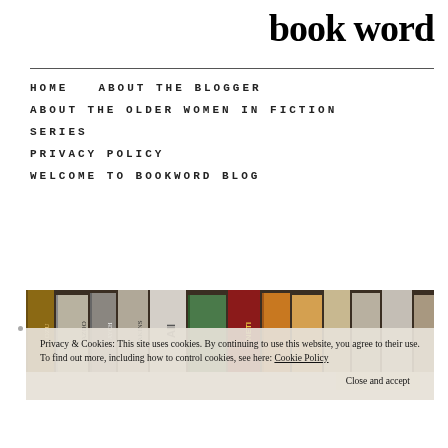book word
HOME
ABOUT THE BLOGGER
ABOUT THE OLDER WOMEN IN FICTION
SERIES
PRIVACY POLICY
WELCOME TO BOOKWORD BLOG
[Figure (photo): Row of books on a shelf viewed from the side, showing spines of various colors and titles]
Privacy & Cookies: This site uses cookies. By continuing to use this website, you agree to their use.
To find out more, including how to control cookies, see here: Cookie Policy
Close and accept